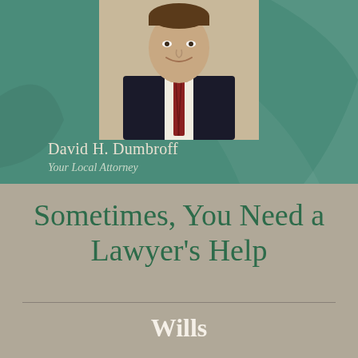[Figure (photo): Professional headshot of David H. Dumbroff, a man in a dark suit with a striped tie, smiling, against a teal/green background with decorative curved shapes]
David H. Dumbroff
Your Local Attorney
Sometimes, You Need a Lawyer's Help
Wills